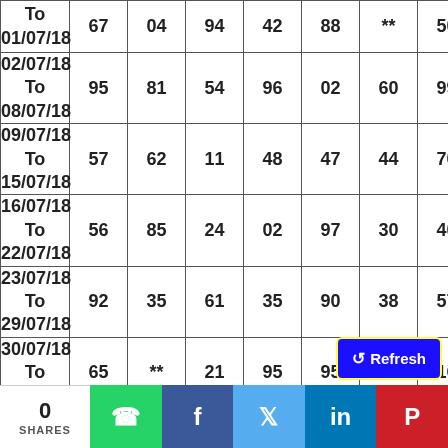| Date | Col1 | Col2 | Col3 | Col4 | Col5 | Col6 | Col7 |
| --- | --- | --- | --- | --- | --- | --- | --- |
| To 01/07/18 | 67 | 04 | 94 | 42 | 88 | ** | 50 |
| 02/07/18 To 08/07/18 | 95 | 81 | 54 | 96 | 02 | 60 | 99 |
| 09/07/18 To 15/07/18 | 57 | 62 | 11 | 48 | 47 | 44 | 70 |
| 16/07/18 To 22/07/18 | 56 | 85 | 24 | 02 | 97 | 30 | 40 |
| 23/07/18 To 29/07/18 | 92 | 35 | 61 | 35 | 90 | 38 | 57 |
| 30/07/18 To 05/08/18 | 65 | ** | 21 | 95 | 95 | 96 | 16 |
| 06/08/18 To 12/08/18 | 30 | 29 | 74 | 74 | 14 | 72 | 67 |
| 13/08/18 | ... | 45 | ... | ... | 70 | 64 | 17 |